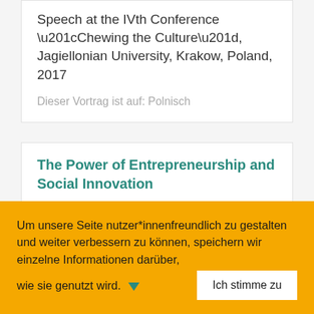Speech at the IVth Conference “Chewing the Culture”, Jagiellonian University, Krakow, Poland, 2017
Dieser Vortrag ist auf: Polnisch
The Power of Entrepreneurship and Social Innovation
Um unsere Seite nutzer*innenfreundlich zu gestalten und weiter verbessern zu können, speichern wir einzelne Informationen darüber, wie sie genutzt wird.